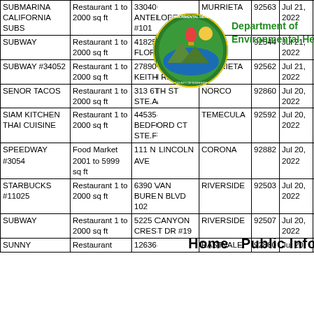| Name | Type | Address | City | ZIP | Date | Score |
| --- | --- | --- | --- | --- | --- | --- |
| SUBMARINA CALIFORNIA SUBS | Restaurant 1 to 2000 sq ft | 33040 ANTELOPE RD #101 | MURRIETA | 92563 | Jul 21, 2022 | 93.0 |
| SUBWAY | Restaurant 1 to 2000 sq ft | 41825 E FLORIDA AVE | H... | 92544 | Jul 21, 2022 | 92.0 |
| SUBWAY #34052 | Restaurant 1 to 2000 sq ft | 27890 CLINTON KEITH RD A-2 | MURRIETA | 92562 | Jul 21, 2022 | 95.0 |
| SENOR TACOS | Restaurant 1 to 2000 sq ft | 313 6TH ST STE.A | NORCO | 92860 | Jul 20, 2022 | 90.0 |
| SIAM KITCHEN THAI CUISINE | Restaurant 1 to 2000 sq ft | 44535 BEDFORD CT STE.F | TEMECULA | 92592 | Jul 20, 2022 | 92.0 |
| SPEEDWAY #3054 | Food Market 2001 to 5999 sq ft | 111 N LINCOLN AVE | CORONA | 92882 | Jul 20, 2022 | 94.0 |
| STARBUCKS #11025 | Restaurant 1 to 2000 sq ft | 6390 VAN BUREN BLVD 102 | RIVERSIDE | 92503 | Jul 20, 2022 | 100.0 |
| SUBWAY | Restaurant 1 to 2000 sq ft | 5225 CANYON CREST DR #19 | RIVERSIDE | 92507 | Jul 20, 2022 | 98.0 |
| SUNNY | Restaurant | 12636 | EASTVALE | 92880 | Jul 20, | 94.0 |